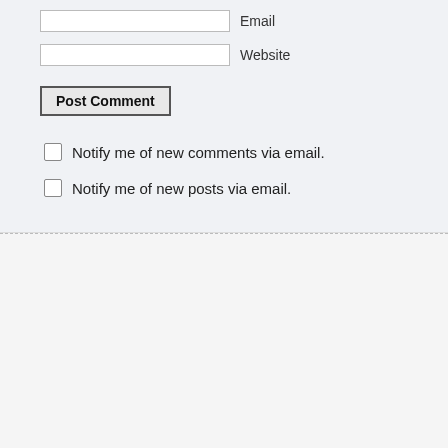[Figure (screenshot): Web form fields: Email input, Website input, Post Comment button, two checkboxes for email notifications]
Notify me of new comments via email.
Notify me of new posts via email.